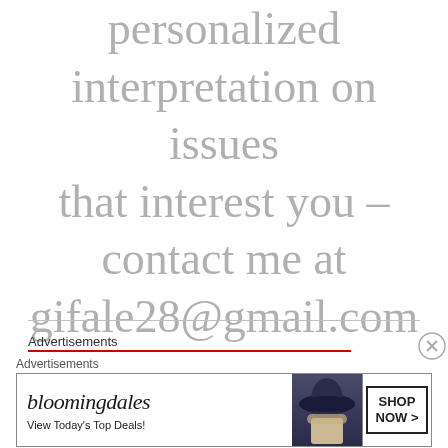personalized interpretation on issues that interest you – contact me at gifale28@gmail.com
Advertisements
[Figure (screenshot): Bloomingdale's advertisement banner with woman in wide-brim hat and SHOP NOW button]
Advertisements